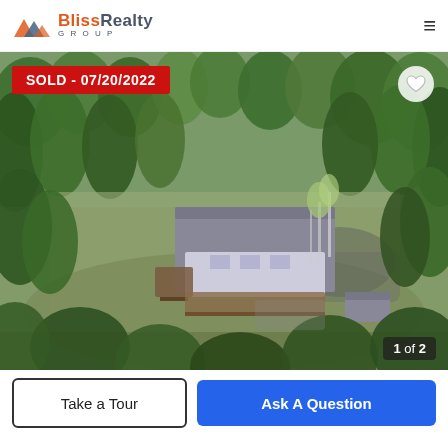Bliss Realty Group
[Figure (photo): Aerial drone photo of a residential property with a house featuring a gray roof and deck, surrounded by pine and aspen trees, with a driveway and small outbuilding visible. Red 'SOLD - 07/20/2022' badge in top-left corner. '1 of 2' photo counter in bottom-right. Heart/favorite icon in top-right.]
SOLD - 07/20/2022
1 of 2